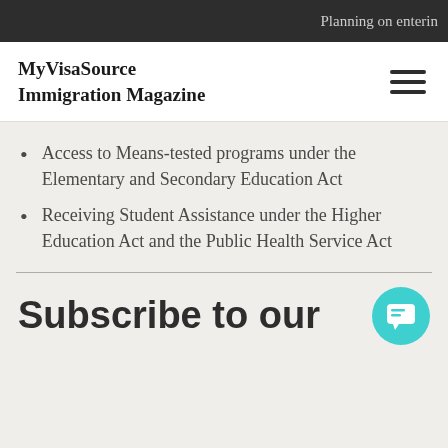Planning on enterin
MyVisaSource Immigration Magazine
Access to Means-tested programs under the Elementary and Secondary Education Act
Receiving Student Assistance under the Higher Education Act and the Public Health Service Act
Subscribe to our